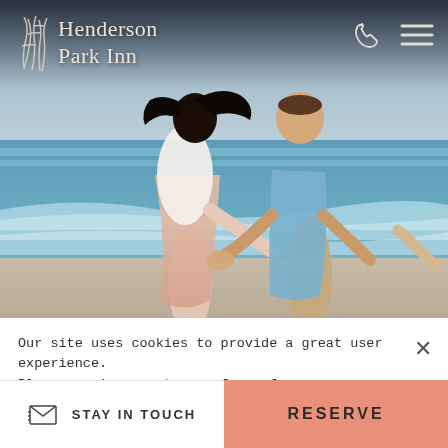[Figure (photo): A couple holding hands running on a beach, woman in white top and pink skirt, man in light blue shirt and khaki pants, ocean waves in background]
Henderson Park Inn
Our site uses cookies to provide a great user experience. Please review our terms of use for more information. I Understand.
STAY IN TOUCH
RESERVE